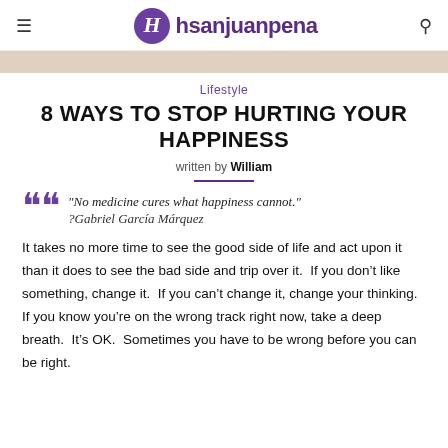hsanjuanpena
Lifestyle
8 WAYS TO STOP HURTING YOUR HAPPINESS
written by William
“No medicine cures what happiness cannot.” ?Gabriel García Márquez
It takes no more time to see the good side of life and act upon it than it does to see the bad side and trip over it.  If you don’t like something, change it.  If you can’t change it, change your thinking.  If you know you’re on the wrong track right now, take a deep breath.  It’s OK.  Sometimes you have to be wrong before you can be right.